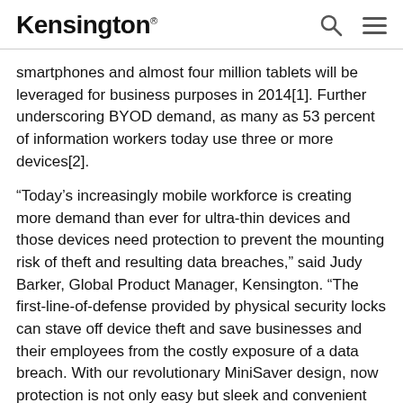Kensington
smartphones and almost four million tablets will be leveraged for business purposes in 2014[1]. Further underscoring BYOD demand, as many as 53 percent of information workers today use three or more devices[2].
“Today’s increasingly mobile workforce is creating more demand than ever for ultra-thin devices and those devices need protection to prevent the mounting risk of theft and resulting data breaches,” said Judy Barker, Global Product Manager, Kensington. “The first-line-of-defense provided by physical security locks can stave off device theft and save businesses and their employees from the costly exposure of a data breach. With our revolutionary MiniSaver design, now protection is not only easy but sleek and convenient as well.”
The MiniSaver Mobile Lock is a highly versatile security